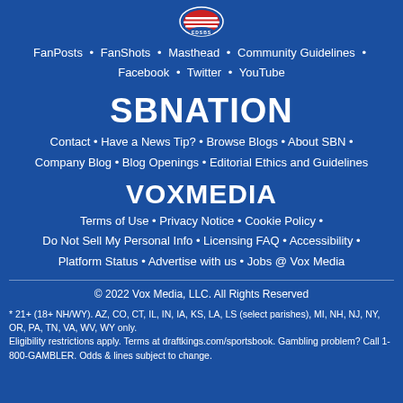[Figure (logo): Circular team logo with red/white stripes and 'EDSBS' text]
FanPosts • FanShots • Masthead • Community Guidelines • Facebook • Twitter • YouTube
SBNATION
Contact • Have a News Tip? • Browse Blogs • About SBN • Company Blog • Blog Openings • Editorial Ethics and Guidelines
VOXMEDIA
Terms of Use • Privacy Notice • Cookie Policy • Do Not Sell My Personal Info • Licensing FAQ • Accessibility • Platform Status • Advertise with us • Jobs @ Vox Media
© 2022 Vox Media, LLC. All Rights Reserved
* 21+ (18+ NH/WY). AZ, CO, CT, IL, IN, IA, KS, LA, LS (select parishes), MI, NH, NJ, NY, OR, PA, TN, VA, WV, WY only.
Eligibility restrictions apply. Terms at draftkings.com/sportsbook. Gambling problem? Call 1-800-GAMBLER. Odds & lines subject to change.